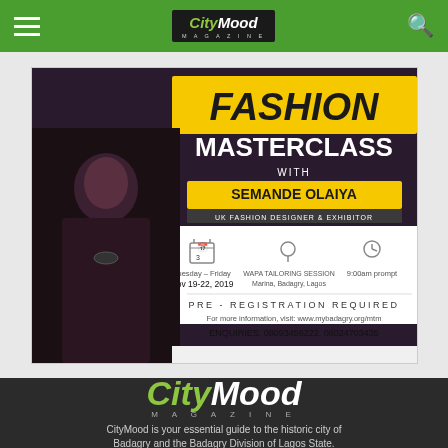CityMood Magazine — navigation bar with hamburger menu and search icon
[Figure (illustration): Fashion Masterclass promotional banner with Semande Olaiya, UK Fashion Designer & Exhibitor. Tuesday–Friday Nov 19-22, 2019. WAPA Tailoring Session, Marina, Badagry, Lagos. 9:00am prompt. Pre-registration required. www.mybadagry.org/mtm. Enquiries: 08093456222, 08024703435]
[Figure (logo): CityMood Magazine logo — large version on dark background]
CityMood is your essential guide to the historic city of Badagry and the Badagry Division of Lagos State.